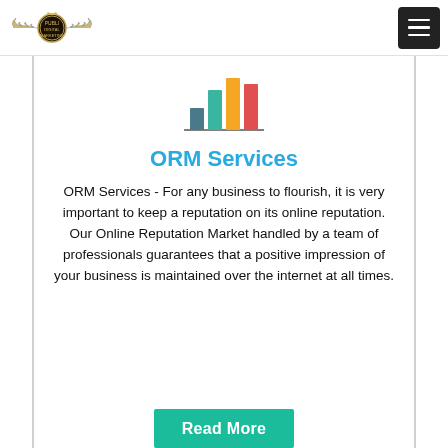[Figure (logo): Winged badge logo with eagle wings and circular emblem in center]
[Figure (logo): Hamburger menu button - dark square with three horizontal white lines]
[Figure (bar-chart): Colorful bar chart icon with 4 bars in teal, green, orange and red colors rising left to right]
ORM Services
ORM Services - For any business to flourish, it is very important to keep a reputation on its online reputation. Our Online Reputation Market handled by a team of professionals guarantees that a positive impression of your business is maintained over the internet at all times.
Read More